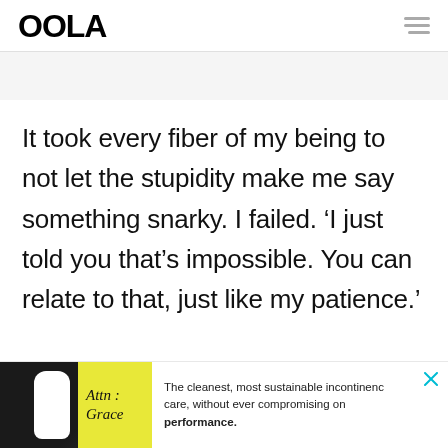OOLA
It took every fiber of my being to not let the stupidity make me say something snarky. I failed. ‘I just told you that’s impossible. You can relate to that, just like my patience.'
[Figure (infographic): Advertisement banner for Attn: Grace incontinence care product. Shows a dark background with a white bottle, yellow label reading 'Attn: Grace', and text: 'The cleanest, most sustainable incontinence care, without ever compromising on performance.' with a close button.]